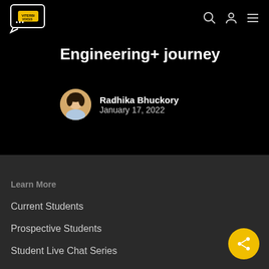[Figure (logo): Viterbi Voices logo — speech bubble with 'VITERBI' and 'VOICES' text]
Engineering+ journey
Radhika Bhuckory
January 17, 2022
Learn More
Current Students
Prospective Students
Student Live Chat Series